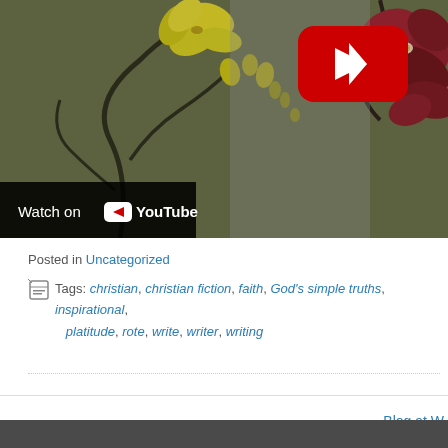[Figure (screenshot): YouTube video thumbnail showing yellow and red orchid flowers with a YouTube play button overlay and 'Watch on YouTube' bar at bottom left]
Posted in Uncategorized
Tags: christian, christian fiction, faith, God's simple truths, inspirational, platitude, rote, write, writer, writing
Blog at W...